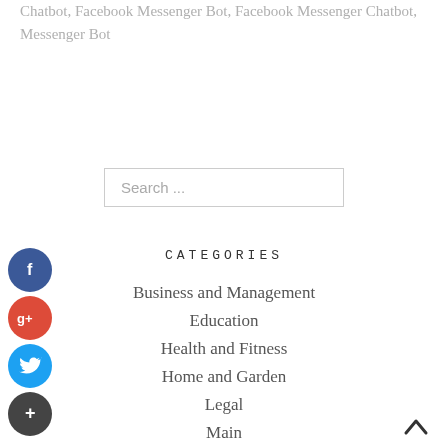Chatbot, Facebook Messenger Bot, Facebook Messenger Chatbot, Messenger Bot
[Figure (other): Search input box with placeholder text 'Search ...']
[Figure (other): Social share icons: Facebook (blue circle with f), Google+ (red circle with g+), Twitter (blue circle with bird), Plus (dark circle with +)]
CATEGORIES
Business and Management
Education
Health and Fitness
Home and Garden
Legal
Main